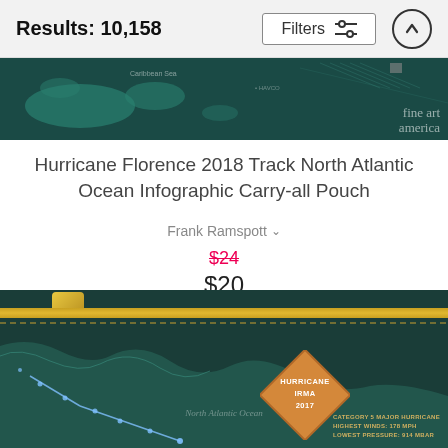Results: 10,158
[Figure (photo): Top strip showing a teal/dark green map of the North Atlantic Ocean with fine art america watermark]
Hurricane Florence 2018 Track North Atlantic Ocean Infographic Carry-all Pouch
Frank Ramspott
$24 (strikethrough) $20
[Figure (photo): Carry-all pouch with gold zipper showing a dark teal map of North Atlantic Ocean with a hurricane infographic badge reading HURRICANE IRMA 2017, Category 5 Major Hurricane, Highest Winds: 178 MPH, Lowest Pressure: 914 MBAR]